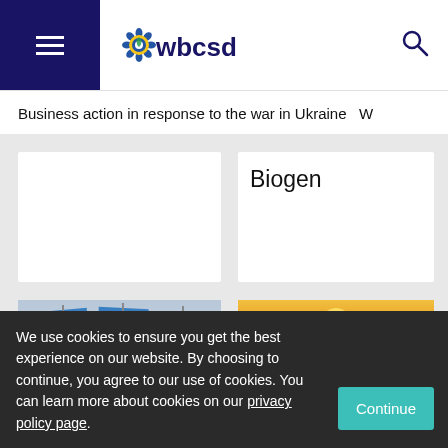[Figure (logo): WBCSD logo with hamburger menu and search icon in website header]
Business action in response to the war in Ukraine   W
Biogen
[Figure (photo): Ukrainian flags photo on the left]
[Figure (photo): Sunflower field at sunset on the right]
We use cookies to ensure you get the best experience on our website. By choosing to continue, you agree to our use of cookies. You can learn more about cookies on our privacy policy page.